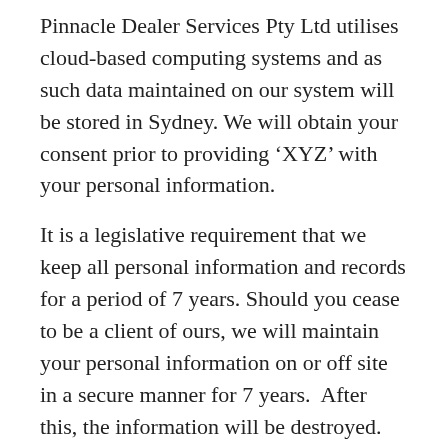Pinnacle Dealer Services Pty Ltd utilises cloud-based computing systems and as such data maintained on our system will be stored in Sydney. We will obtain your consent prior to providing ‘XYZ’ with your personal information.
It is a legislative requirement that we keep all personal information and records for a period of 7 years. Should you cease to be a client of ours, we will maintain your personal information on or off site in a secure manner for 7 years. After this, the information will be destroyed.
Ensure Your Personal Information Is Correct